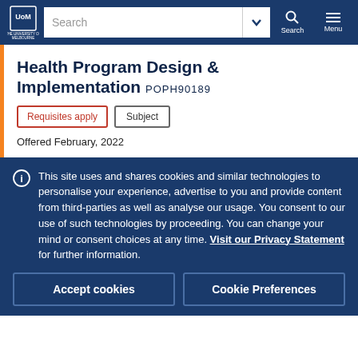University of Melbourne — navigation header with search bar
Health Program Design & Implementation POPH90189
Requisites apply
Subject
Offered February, 2022
This site uses and shares cookies and similar technologies to personalise your experience, advertise to you and provide content from third-parties as well as analyse our usage. You consent to our use of such technologies by proceeding. You can change your mind or consent choices at any time. Visit our Privacy Statement for further information.
Accept cookies
Cookie Preferences